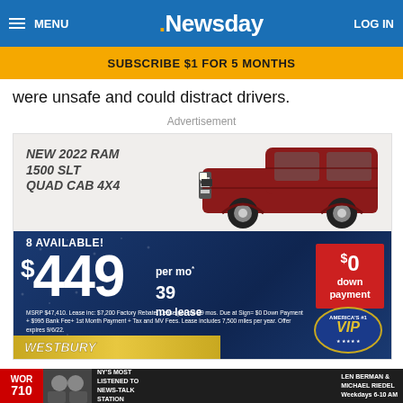MENU | Newsday | LOG IN
SUBSCRIBE $1 FOR 5 MONTHS
were unsafe and could distract drivers.
Advertisement
[Figure (photo): Car dealership advertisement for New 2022 RAM 1500 SLT Quad Cab 4x4. 8 Available! $449 per mo 39 mo lease. $0 down payment. MSRP $47,410. Lease inc: $7,200 Factory Rebate. Lease per mo 39 mos. Due at Sign= $0 Down Payment + $995 Bank Fee+ 1st Month Payment + Tax and MV Fees. Lease includes 7,500 miles per year. Offer expires 9/6/22. Westbury dealer. America's #1 VIP.]
[Figure (infographic): WOR 710 radio ad: NY's Most Listened To News-Talk Station. Len Berman & Michael Riedel. Weekdays 6-10 AM.]